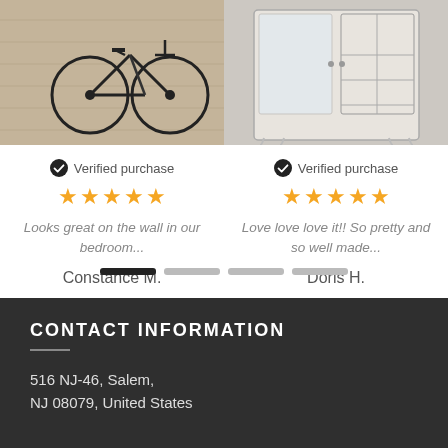[Figure (photo): Photo of a bicycle artwork on wooden panels displayed on a wall]
[Figure (photo): Photo of a white distressed wooden cabinet with glass doors and shelves]
Verified purchase
★★★★★
Looks great on the wall in our bedroom...
Constance M.
Verified purchase
★★★★★
Love love love it!! So pretty and so well made...
Doris H.
CONTACT INFORMATION
516 NJ-46, Salem,
NJ 08079, United States